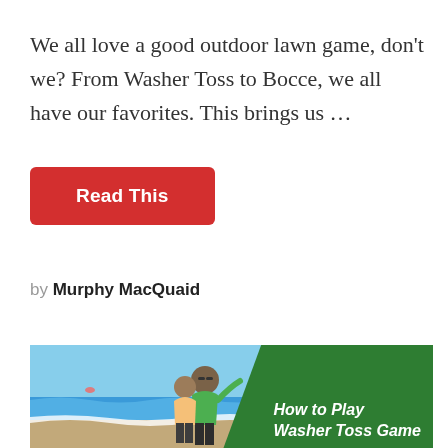We all love a good outdoor lawn game, don't we? From Washer Toss to Bocce, we all have our favorites. This brings us …
Read This
by Murphy MacQuaid
[Figure (photo): A person on a beach throwing something, overlaid with a green panel containing text 'How to Play Washer Toss Game']